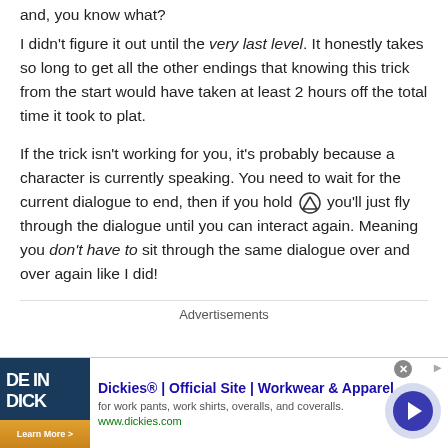and, you know what?
I didn't figure it out until the very last level. It honestly takes so long to get all the other endings that knowing this trick from the start would have taken at least 2 hours off the total time it took to plat.
If the trick isn't working for you, it's probably because a character is currently speaking. You need to wait for the current dialogue to end, then if you hold [triangle] you'll just fly through the dialogue until you can interact again. Meaning you don't have to sit through the same dialogue over and over again like I did!
Advertisements
[Figure (screenshot): Dickies advertisement banner: image of product on left, bold blue title 'Dickies® | Official Site | Workwear & Apparel', description text 'for work pants, work shirts, overalls, and coveralls.', green URL 'www.dickies.com', close button (x), and a right-arrow navigation button]